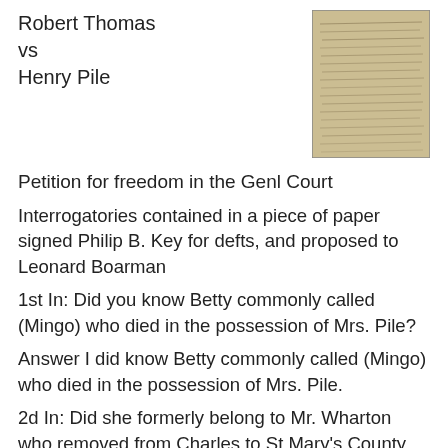Robert Thomas
vs
Henry Pile
[Figure (photo): Photograph of a handwritten historical legal document, showing cursive script text on aged paper.]
Petition for freedom in the Genl Court
Interrogatories contained in a piece of paper signed Philip B. Key for defts, and proposed to Leonard Boarman
1st In: Did you know Betty commonly called (Mingo) who died in the possession of Mrs. Pile?
Answer I did know Betty commonly called (Mingo) who died in the possession of Mrs. Pile.
2d In: Did she formerly belong to Mr. Wharton who removed from Charles to St Mary's County and how long since, did she formerly belong to John Stone Father of David Stone of Charles County and sold